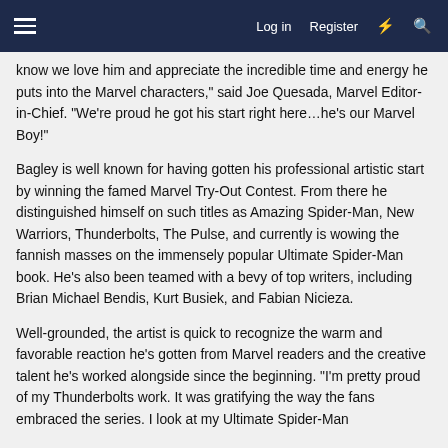Log in  Register
know we love him and appreciate the incredible time and energy he puts into the Marvel characters,” said Joe Quesada, Marvel Editor-in-Chief. “We’re proud he got his start right here…he’s our Marvel Boy!”
Bagley is well known for having gotten his professional artistic start by winning the famed Marvel Try-Out Contest. From there he distinguished himself on such titles as Amazing Spider-Man, New Warriors, Thunderbolts, The Pulse, and currently is wowing the fannish masses on the immensely popular Ultimate Spider-Man book. He’s also been teamed with a bevy of top writers, including Brian Michael Bendis, Kurt Busiek, and Fabian Nicieza.
Well-grounded, the artist is quick to recognize the warm and favorable reaction he’s gotten from Marvel readers and the creative talent he’s worked alongside since the beginning. “I’m pretty proud of my Thunderbolts work. It was gratifying the way the fans embraced the series. I look at my Ultimate Spider-Man